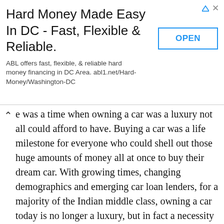[Figure (other): Advertisement banner: Hard Money Made Easy In DC - Fast, Flexible & Reliable. ABL offers fast, flexible, & reliable hard money financing in DC Area. abl1.net/Hard-Money/Washington-DC with an OPEN button]
e was a time when owning a car was a luxury not all could afford to have. Buying a car was a life milestone for everyone who could shell out those huge amounts of money all at once to buy their dream car. With growing times, changing demographics and emerging car loan lenders, for a majority of the Indian middle class, owning a car today is no longer a luxury, but in fact a necessity made possible by taking a car loan.
Credit Card Loan
The uses of credit cards are many. Starting from cashless transactions to reward points and special deals, you can use credit card anywhere across the globe. Also, cardholders can avail pre-approved loans on credit cards within or over their credit limit. Similar to the usual loan schemes, the issuer essentially loans you the amount which you will be able to